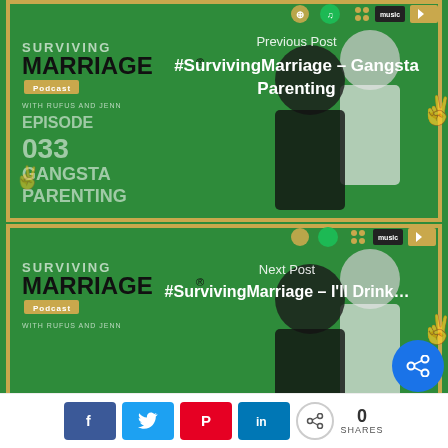[Figure (photo): Top podcast card: Surviving Marriage Podcast Episode 033 Gangsta Parenting, green background with two people making peace signs]
Previous Post
#SurvivingMarriage – Gangsta Parenting
[Figure (photo): Bottom podcast card: Surviving Marriage Podcast, green background with two people making peace signs]
Next Post
#SurvivingMarriage – I'll Drink…
0 SHARES — Facebook, Twitter, Pinterest, LinkedIn share buttons